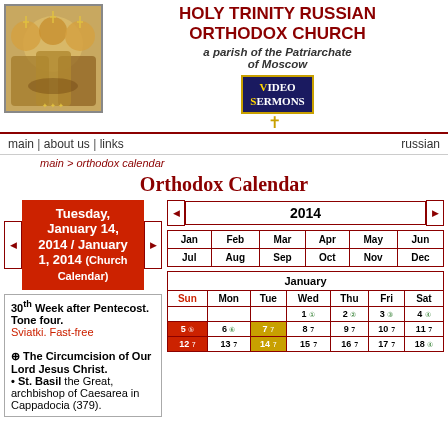HOLY TRINITY RUSSIAN ORTHODOX CHURCH
a parish of the Patriarchate of Moscow
[Figure (logo): Holy Trinity icon image on left; Video Sermons button on right]
main | about us | links   russian
main > orthodox calendar
Orthodox Calendar
Tuesday, January 14, 2014 / January 1, 2014 (Church Calendar)
2014
30th Week after Pentecost. Tone four. Sviatki. Fast-free ⊕ The Circumcision of Our Lord Jesus Christ. • St. Basil the Great, archbishop of Caesarea in Cappadocia (379).
| Jan | Feb | Mar | Apr | May | Jun | Jul | Aug | Sep | Oct | Nov | Dec |
| --- | --- | --- | --- | --- | --- | --- | --- | --- | --- | --- | --- |
| Jan | Feb | Mar | Apr | May | Jun |
| Jul | Aug | Sep | Oct | Nov | Dec |
| Sun | Mon | Tue | Wed | Thu | Fri | Sat |
| --- | --- | --- | --- | --- | --- | --- |
|  |  |  | 1 | 2 | 3 | 4 |
| 5 | 6 | 7 | 8 | 9 | 10 | 11 |
| 12 | 13 | 14 | 15 | 16 | 17 | 18 |